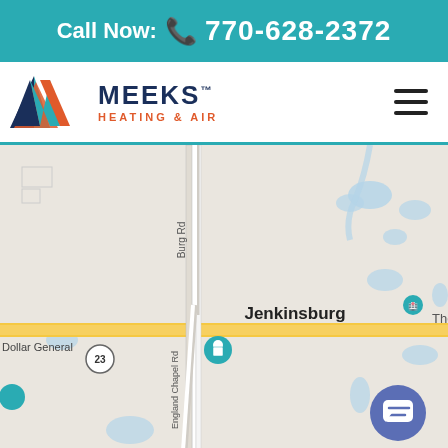Call Now: 770-628-2372
[Figure (logo): Meeks Heating & Air logo with M-shaped triangle graphic in teal, dark blue, and orange]
[Figure (map): Google Maps screenshot showing Jenkinsburg area in Georgia with roads including Burg Rd, England Chapel Rd, Shiloh Rd, route 23, locations Dollar General, Scotts marker, and area labeled The (truncated). Yellow highway visible running east-west. Blue water bodies visible. Chat button in bottom right.]